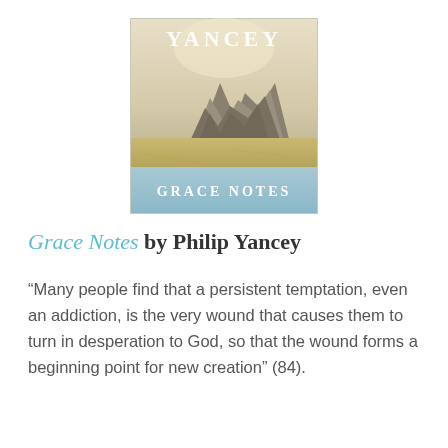[Figure (illustration): Book cover of 'Grace Notes' by Yancey, showing a landscape with rocky mountains and golden fields. The word YANCEY appears at the top in white serif letters, and GRACE NOTES appears at the bottom in a light blue banner.]
Grace Notes by Philip Yancey
“Many people find that a persistent temptation, even an addiction, is the very wound that causes them to turn in desperation to God, so that the wound forms a beginning point for new creation” (84).